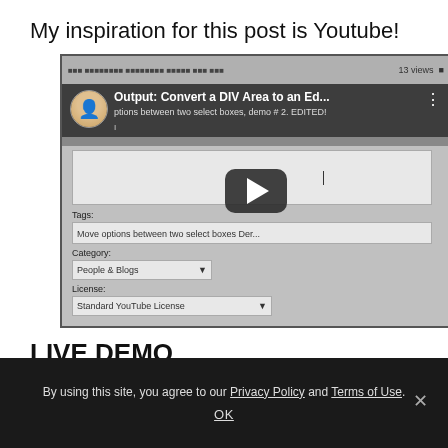My inspiration for this post is Youtube!
[Figure (screenshot): Screenshot of a YouTube video upload/edit page showing 'Output: Convert a DIV Area to an Ed...' with form fields for Tags, Category (People & Blogs), and License (Standard YouTube License). A play button overlay is visible in the center.]
LIVE DEMO
By using this site, you agree to our Privacy Policy and Terms of Use.
OK